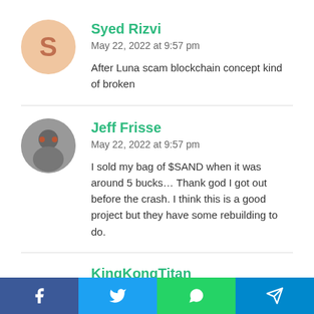Syed Rizvi
May 22, 2022 at 9:57 pm
After Luna scam blockchain concept kind of broken
Jeff Frisse
May 22, 2022 at 9:57 pm
I sold my bag of $SAND when it was around 5 bucks… Thank god I got out before the crash. I think this is a good project but they have some rebuilding to do.
KingKongTitan
May 22, 2022 at 9:57 pm
LunaOne Metaverse